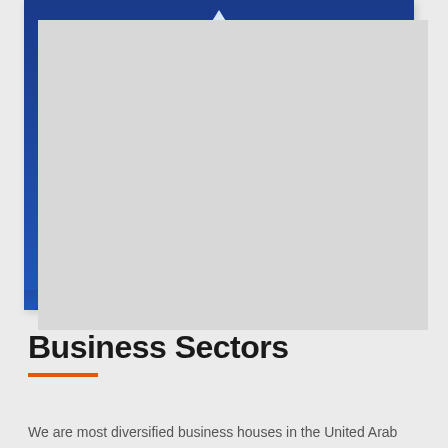[Figure (photo): Close-up architectural photo of a modern glass building facade with triangular geometric diamond-pattern panels in shades of blue, reflecting sky. The building tapers to a triangular peak at the top against a deep blue sky.]
Business Sectors
We are most diversified business houses in the United Arab